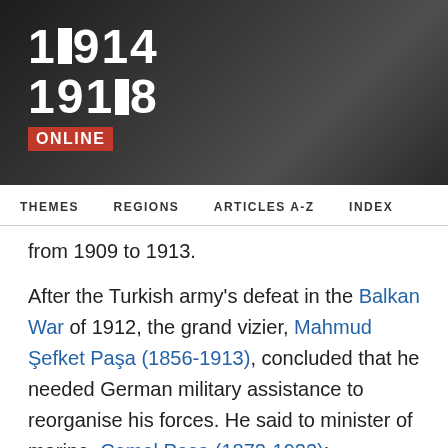[Figure (logo): 1914-1918 Online website header with dark background, logo showing years 1914 and 1918 in white bold text with red ONLINE label]
THEMES   REGIONS   ARTICLES A-Z   INDEX
from 1909 to 1913.
After the Turkish army's defeat in the Balkan War of 1912, the grand vizier, Mahmud Şefket Paşa (1856-1913), concluded that he needed German military assistance to reorganise his forces. He said to minister of marine, Cemal Paşa (1872-1922):
As regards our army, I don't think we must hesitate any longer to adopt the methods of the